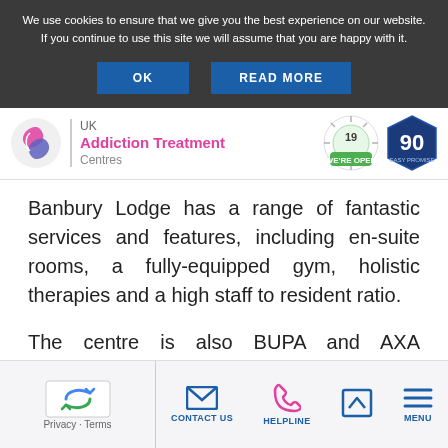We use cookies to ensure that we give you the best experience on our website. If you continue to use this site we will assume that you are happy with it.
[Figure (screenshot): Cookie consent buttons: OK and READ MORE on dark background]
[Figure (logo): UK Addiction Treatment Centres logo with pink/blue swirl icon, COVID-19 open badge and 90 day promise badge]
Banbury Lodge has a range of fantastic services and features, including en-suite rooms, a fully-equipped gym, holistic therapies and a high staff to resident ratio.
The centre is also BUPA and AXA recognised, so you
Privacy · Terms    CONTACT US    HELPLINE    MENU